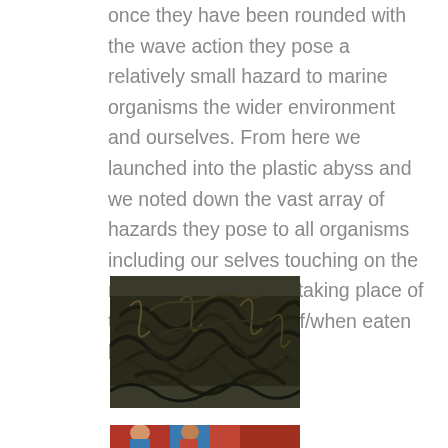once they have been rounded with the wave action they pose a relatively small hazard to marine organisms the wider environment and ourselves. From here we launched into the plastic abyss and we noted down the vast array of hazards they pose to all organisms including our selves touching on the research studies now taking place of the effects of plastics if/when eaten by us in seafood.
[Figure (photo): A pile of dark tangled plastic debris or seaweed-like materials on the ground]
[Figure (photo): Partial view of a photo at bottom of page, showing colorful content (possibly people)]